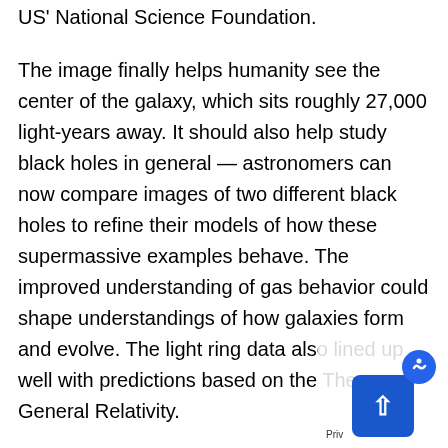US' National Science Foundation.
The image finally helps humanity see the center of the galaxy, which sits roughly 27,000 light-years away. It should also help study black holes in general — astronomers can now compare images of two different black holes to refine their models of how these supermassive examples behave. The improved understanding of gas behavior could shape understandings of how galaxies form and evolve. The light ring data also lined up well with predictions based on the Theory of General Relativity.
You can expect more data going forward. The EHT is continuing to expand, and conducted its largest observation effort yet this March.